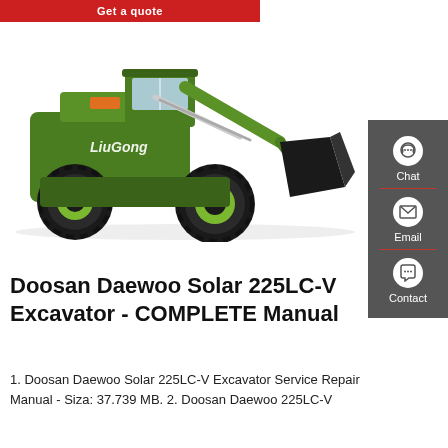[Figure (other): Red 'Get a quote' button banner at top of page]
[Figure (photo): LiuGong wheel loader / excavator machine in green and black color, side view showing large bucket and wheels]
[Figure (other): Dark grey sidebar with Chat, Email, and Contact icons]
Doosan Daewoo Solar 225LC-V Excavator - COMPLETE Manual
1. Doosan Daewoo Solar 225LC-V Excavator Service Repair Manual - Siza: 37.739 MB. 2. Doosan Daewoo 225LC-V